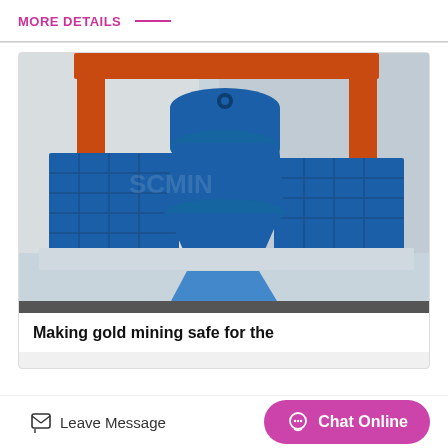MORE DETAILS
[Figure (photo): Large industrial mining machine (VSI sand maker / crusher) in blue with orange crane overhead, mounted on a platform with supports, photographed outdoors at a factory yard.]
Making gold mining safe for the
Leave Message   Chat Online